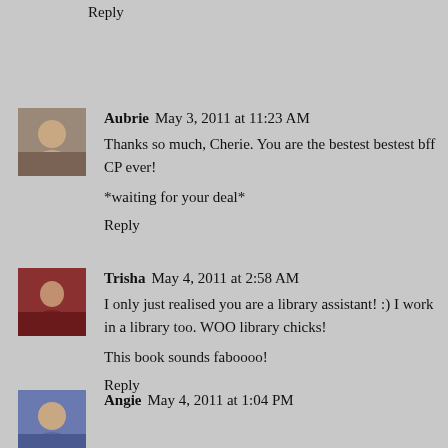Reply
Aubrie  May 3, 2011 at 11:23 AM
Thanks so much, Cherie. You are the bestest bestest bff CP ever!

*waiting for your deal*
Reply
Trisha  May 4, 2011 at 2:58 AM
I only just realised you are a library assistant! :) I work in a library too. WOO library chicks!

This book sounds faboooo!
Reply
Angie  May 4, 2011 at 1:04 PM